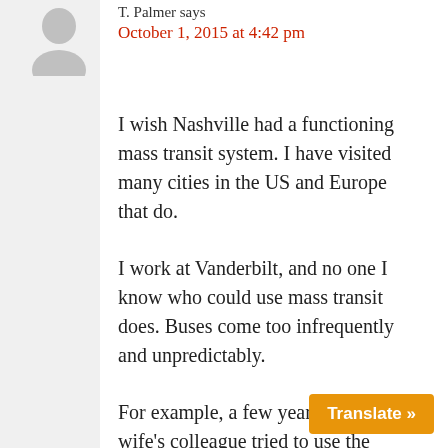[Figure (illustration): Gray default user avatar/silhouette icon]
T. Palmer says
October 1, 2015 at 4:42 pm
I wish Nashville had a functioning mass transit system. I have visited many cities in the US and Europe that do.
I work at Vanderbilt, and no one I know who could use mass transit does. Buses come too infrequently and unpredictably.
For example, a few years back, my wife's colleague tried to use the buses but learned that if she missed the 5:30 bus on 21st it would be another 45-60 minutes befo...